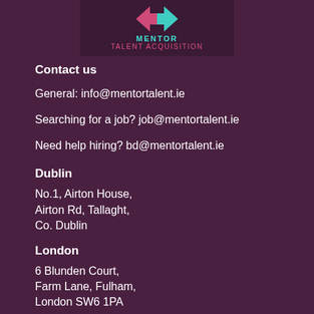[Figure (logo): Mentor Talent Acquisition logo with pink and teal arrow shapes on dark background]
Contact us
General: info@mentortalent.ie
Searching for a job? job@mentortalent.ie
Need help hiring? bd@mentortalent.ie
Dublin
No.1, Airton House,
Airton Rd, Tallaght,
Co. Dublin
London
6 Blunden Court,
Farm Lane, Fulham,
London SW6 1PA